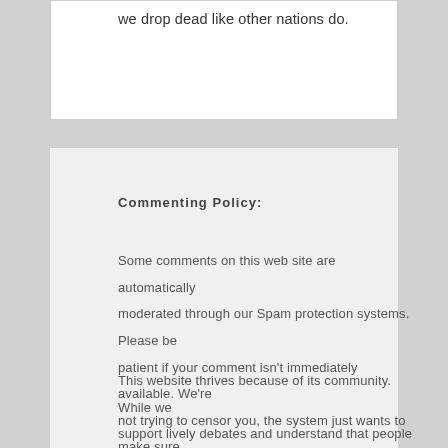we drop dead like other nations do.
Commenting Policy:
Some comments on this web site are automatically moderated through our Spam protection systems. Please be patient if your comment isn't immediately available. We're not trying to censor you, the system just wants to make sure you're not a robot posting random spam.
This website thrives because of its community. While we support lively debates and understand that people get excited, frustrated or angry at times, we ask that the conversation remain civil. Racism, to include any religious